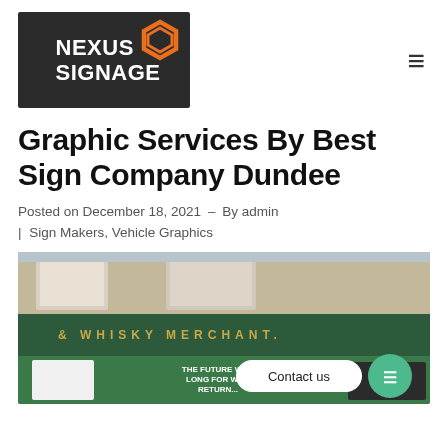[Figure (logo): Nexus Signage logo: dark grey background with white bold text 'NEXUS SIGNAGE' and an orange hexagonal icon in the top right of the logo box]
Graphic Services By Best Sign Company Dundee
Posted on December 18, 2021 - By admin | Sign Makers, Vehicle Graphics
[Figure (photo): Photograph of a green-painted storefront with gold lettering reading '& WHISKY MERCHANT.' on the fascia. A green banner with white text 'THE FUTURE WILL LONG FOR WILL RETURN...' is visible below. A 'Contact us' chat bubble and green circular chat button are overlaid in the bottom right corner. Nexus Signage branding is visible in the lower right of the photo.]